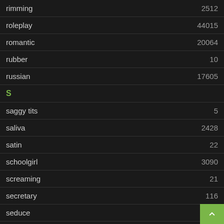| Tag | Count |
| --- | --- |
| rimming | 2512 |
| roleplay | 44015 |
| romantic | 20064 |
| rubber | 10 |
| russian | 17605 |
| S |  |
| saggy tits | 5 |
| saliva | 2428 |
| satin | 22 |
| schoolgirl | 3090 |
| screaming | 21 |
| secretary | 116 |
| seduce | 49 |
| sensual | 4152 |
| sex | 9494 |
| sexy |  |